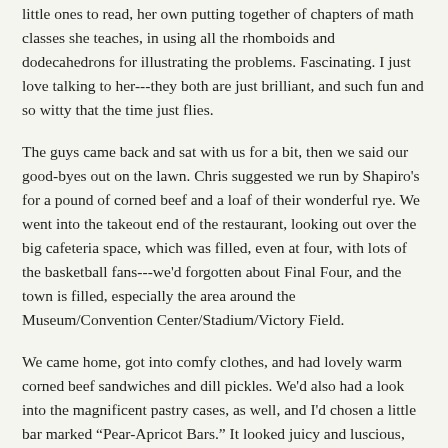little ones to read, her own putting together of chapters of math classes she teaches, in using all the rhomboids and dodecahedrons for illustrating the problems. Fascinating. I just love talking to her---they both are just brilliant, and such fun and so witty that the time just flies.
The guys came back and sat with us for a bit, then we said our good-byes out on the lawn. Chris suggested we run by Shapiro's for a pound of corned beef and a loaf of their wonderful rye. We went into the takeout end of the restaurant, looking out over the big cafeteria space, which was filled, even at four, with lots of the basketball fans---we'd forgotten about Final Four, and the town is filled, especially the area around the Museum/Convention Center/Stadium/Victory Field.
We came home, got into comfy clothes, and had lovely warm corned beef sandwiches and dill pickles. We'd also had a look into the magnificent pastry cases, as well, and I'd chosen a little bar marked “Pear-Apricot Bars.” It looked juicy and luscious, with all the colors of both blended atop a nice nutty crust.
He'd also picked an Espresso Brownie, a cannoli with chocolate cream filling, and a dark chocolate truffle...